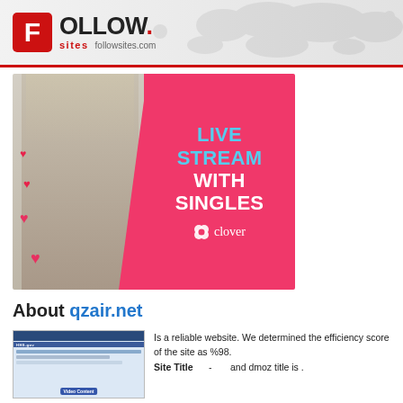FOLLOW. sites followsites.com
[Figure (photo): Advertisement banner for Clover dating app showing a blonde woman on the left and pink background with text 'LIVE STREAM WITH SINGLES' and Clover logo on the right]
About qzair.net
[Figure (screenshot): Screenshot thumbnail of HHS.gov website]
Is a reliable website. We determined the efficiency score of the site as %98. Site Title - and dmoz title is .